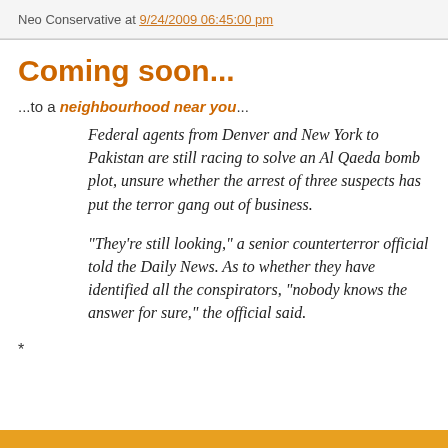Neo Conservative at 9/24/2009 06:45:00 pm
Coming soon...
...to a neighbourhood near you...
Federal agents from Denver and New York to Pakistan are still racing to solve an Al Qaeda bomb plot, unsure whether the arrest of three suspects has put the terror gang out of business.
"They're still looking," a senior counterterror official told the Daily News. As to whether they have identified all the conspirators, "nobody knows the answer for sure," the official said.
*